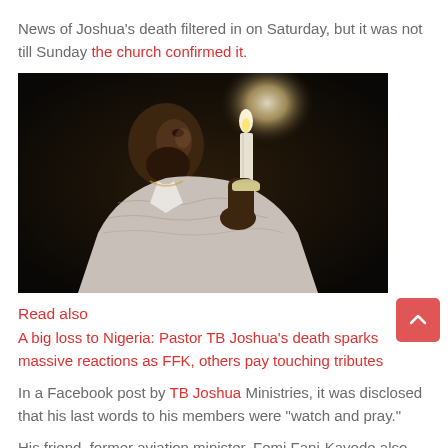News of Joshua's death filtered in on Saturday, but it was not till Sunday the church confirmed it.
[Figure (photo): A man holding a lit candle in a dark setting, wearing a patterned jacket.]
Read also
A big loss to Nigeria: Pastor TB Joshua's death sparks massive reactions as FFK, others pay touching tributes
In a Facebook post by TB Joshua Ministries, it was disclosed that his last words to his members were “watch and pray.”
His friend, former aviation minister, Femi Fani-Kayode also